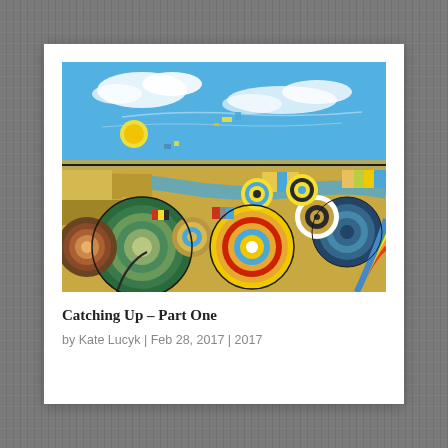[Figure (illustration): Abstract landscape painting with colorful concentric circles, geometric shapes, and fields under a blue sky with clouds. Bold colors include blue, yellow, green, orange, brown, and white. The composition suggests a stylized prairie or rural landscape viewed from above with swirling patterns.]
Catching Up – Part One
by Kate Lucyk | Feb 28, 2017 | 2017